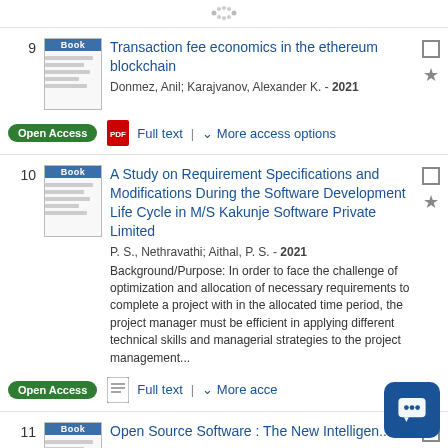[Figure (other): Loading spinner dots at top of page]
9. Transaction fee economics in the ethereum blockchain. Donmez, Anil; Karajvanov, Alexander K. - 2021. Open Access. Full text | More access options
10. A Study on Requirement Specifications and Modifications During the Software Development Life Cycle in M/S Kakunje Software Private Limited. P. S., Nethravathi; Aithal, P. S. - 2021. Background/Purpose: In order to face the challenge of optimization and allocation of necessary requirements to complete a project with in the allocated time period, the project manager must be efficient in applying different technical skills and managerial strategies to the project management... Open Access. Full text | More access options
11. Open Source Software : The New Intelligen...